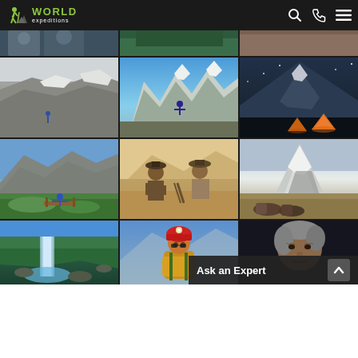[Figure (logo): World Expeditions logo with hiker silhouette and green/white text on dark header bar]
[Figure (photo): Grid of mountain expedition and adventure travel photos showing climbers, snowy peaks, tents, hiking trails, and mountaineering scenes]
Ask an Expert